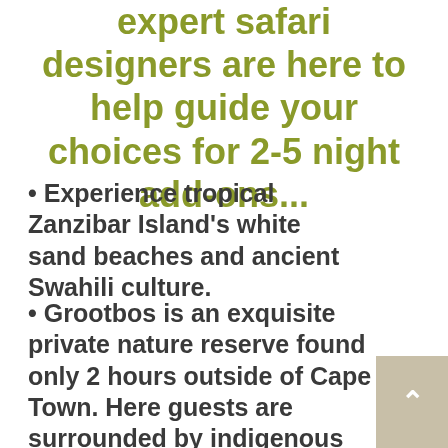expert safari designers are here to help guide your choices for 2-5 night add-ons...
Experience tropical Zanzibar Island's white sand beaches and ancient Swahili culture.
Grootbos is an exquisite private nature reserve found only 2 hours outside of Cape Town. Here guests are surrounded by indigenous wildflowers known as Fynbos